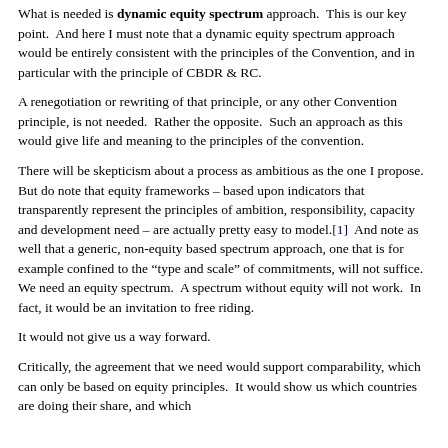What is needed is dynamic equity spectrum approach. This is our key point. And here I must note that a dynamic equity spectrum approach would be entirely consistent with the principles of the Convention, and in particular with the principle of CBDR & RC.
A renegotiation or rewriting of that principle, or any other Convention principle, is not needed. Rather the opposite. Such an approach as this would give life and meaning to the principles of the convention.
There will be skepticism about a process as ambitious as the one I propose. But do note that equity frameworks – based upon indicators that transparently represent the principles of ambition, responsibility, capacity and development need – are actually pretty easy to model.[1] And note as well that a generic, non-equity based spectrum approach, one that is for example confined to the "type and scale" of commitments, will not suffice. We need an equity spectrum. A spectrum without equity will not work. In fact, it would be an invitation to free riding.
It would not give us a way forward.
Critically, the agreement that we need would support comparability, which can only be based on equity principles. It would show us which countries are doing their share, and which